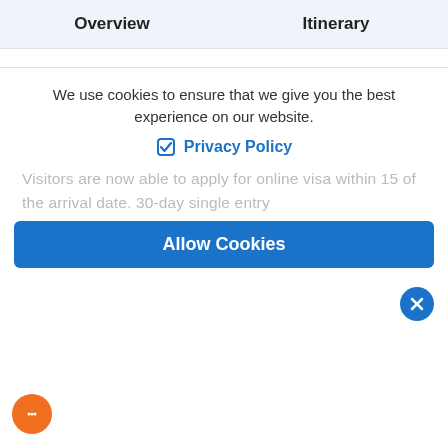Overview  Itinerary
overland entry points. However, travelers from Afghanistan, Iraq, Cameroon, Ghana, Somalia, Swaziland, Senegal, Zimbabwe, Nigeria, Ethiopia, and Liberia are not issued visas on arrival. After you arrive at the Tribhuvan International Airport in Kathmandu, you will find electronic kiosks that will assist your visa processing. Taking the completed
form and paying the visa fee, you need to stand in
We use cookies to ensure that we give you the best experience on our website.
Privacy Policy
Visitors are now able to apply for online visa within 15 of the arrival date. 30-day single entry
Allow Cookies